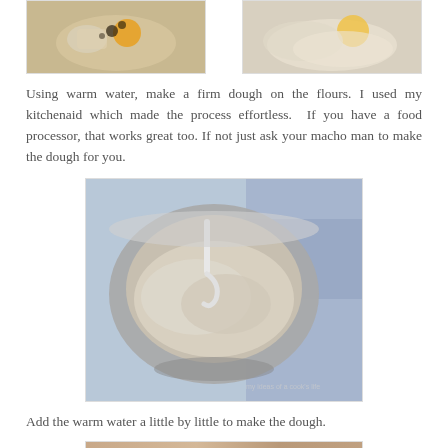[Figure (photo): Two side-by-side photos showing ingredients in bowls — left bowl has flour with spices and egg, right bowl has flour mixture]
Using warm water, make a firm dough on the flours. I used my kitchenaid which made the process effortless.  If you have a food processor, that works great too. If not just ask your macho man to make the dough for you.
[Figure (photo): Photo of a KitchenAid stand mixer bowl with dough being mixed, dough hook visible, blue patterned background]
Add the warm water a little by little to make the dough.
[Figure (photo): Partial photo at bottom of page showing food preparation]